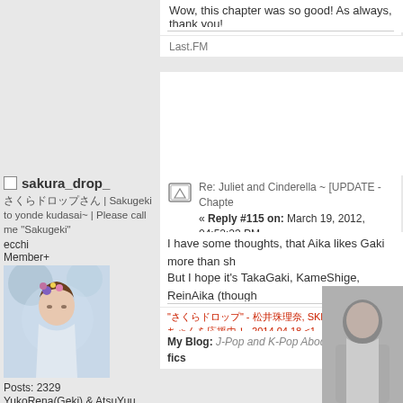Wow, this chapter was so good! As always, thank you!
Last.FM
Re: Juliet and Cinderella ~ [UPDATE - Chapte
« Reply #115 on: March 19, 2012, 04:52:23 PM
I have some thoughts, that Aika likes Gaki more than sh
But I hope it's TakaGaki, KameShige, ReinAika (though
sakura_drop_
さくらドロップさん | Sakugeki to yonde kudasai~ | Please call me "Sakugeki"
ecchi
Member+
[Figure (photo): Avatar photo of a young woman with floral hair accessories, blue/purple flowers, outdoor background]
Posts: 2329
YukoRena(Geki) & AtsuYuu shipping all the way! ♥♥♥
"さくらドロップ" - 松井珠理奈, SKE48 チームKII さえちゃんを応援中！, 2014.04.18 <1
My Blog: J-Pop and K-Pop Abode   The list of my fics
[Figure (photo): Black and white photo of a young woman, cropped at bottom right]